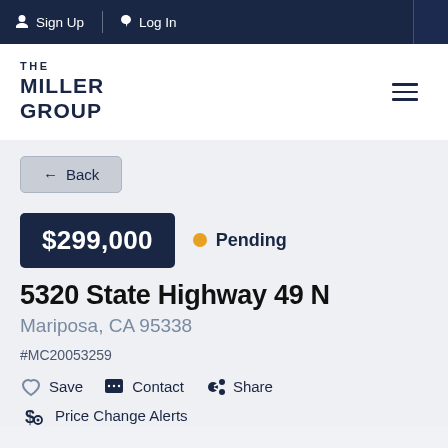Sign Up  Log In
[Figure (logo): The Miller Group real estate logo with hamburger menu icon]
← Back
$299,000  • Pending
5320 State Highway 49 N
Mariposa, CA 95338
#MC20053259
Save  Contact  Share
Price Change Alerts